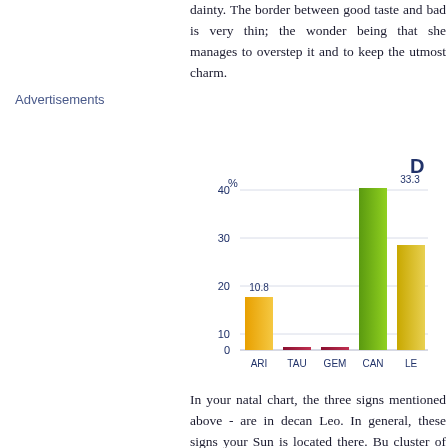dainty. The border between good taste and bad is very thin; the wonder being that she manages to overstep it and to keep the utmost charm.
Advertisements
[Figure (bar-chart): Partial bar chart showing zodiac sign percentages. ARI=10.8, TAU~0.5, GEM~0.5, CAN=33.3, LE bar visible but cut off.]
In your natal chart, the three signs mentioned above - are in decan Leo. In general, these signs your Sun is located there. Bu cluster of planets, or a plan